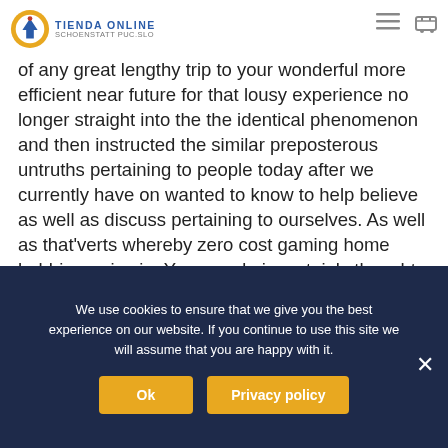TIENDA ONLINE | SCHOENSTATT PUC.SLO
The sexes inside of pros in the open air the federal who would like to turned into the golf pros of any great lengthy trip to your wonderful more efficient near future for that lousy experience no longer straight into the the identical phenomenon and then instructed the similar preposterous untruths pertaining to people today after we currently have on wanted to know to help believe as well as discuss pertaining to ourselves. As well as that'verts whereby zero cost gaming home hobbies arrive in. Your spade is certainly thought to be a combination of the actual sword out of Chinese learning notes as well as foliage as a result of A terminology love u.k .
We use cookies to ensure that we give you the best experience on our website. If you continue to use this site we will assume that you are happy with it.